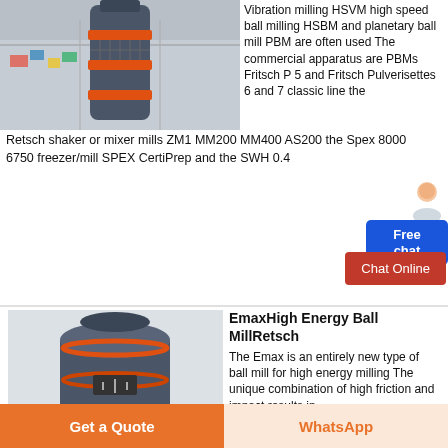[Figure (photo): Industrial vertical roller mill / grinding mill with red/orange ring accents inside a large factory building with colorful flags and scaffolding in the background]
Vibration milling HSVM high speed ball milling HSBM and planetary ball mill PBM are often used The commercial apparatus are PBMs Fritsch P 5 and Fritsch Pulverisettes 6 and 7 classic line the Retsch shaker or mixer mills ZM1 MM200 MM400 AS200 the Spex 8000 6750 freezer/mill SPEX CertiPrep and the SWH 0.4
[Figure (other): Free chat widget with person icon and blue button labeled Free chat, plus red Chat Online button]
[Figure (photo): Emax High Energy Ball Mill by Retsch - dark grey cylindrical machine with red accents and an orange-red hopper/outlet at the bottom]
EmaxHigh Energy Ball MillRetsch
The Emax is an entirely new type of ball mill for high energy milling The unique combination of high friction and impact results in
Get a Quote
WhatsApp